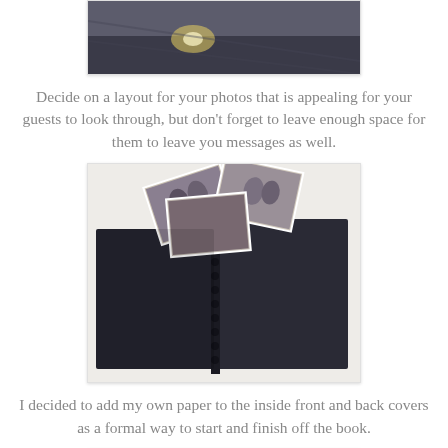[Figure (photo): Partial top photo showing dark background with light glare, appears to be a book or album on a surface]
Decide on a layout for your photos that is appealing for your guests to look through, but don't forget to leave enough space for them to leave you messages as well.
[Figure (photo): Open spiral-bound black scrapbook/guest book with photos scattered on top, on a white surface]
I decided to add my own paper to the inside front and back covers as a formal way to start and finish off the book.
[Figure (photo): Partial bottom photo showing a dark book cover with blue and striped materials beside it]